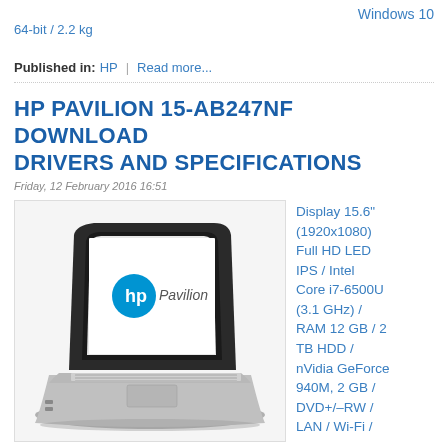Windows 10
64-bit / 2.2 kg
Published in: HP | Read more...
HP PAVILION 15-AB247NF DOWNLOAD DRIVERS AND SPECIFICATIONS
Friday, 12 February 2016 16:51
[Figure (photo): HP Pavilion laptop computer shown at an angle, displaying the HP logo and Pavilion branding on screen, silver/grey color]
Display 15.6" (1920x1080) Full HD LED IPS / Intel Core i7-6500U (3.1 GHz) / RAM 12 GB / 2 TB HDD / nVidia GeForce 940M, 2 GB / DVD+/-RW / LAN / Wi-Fi /